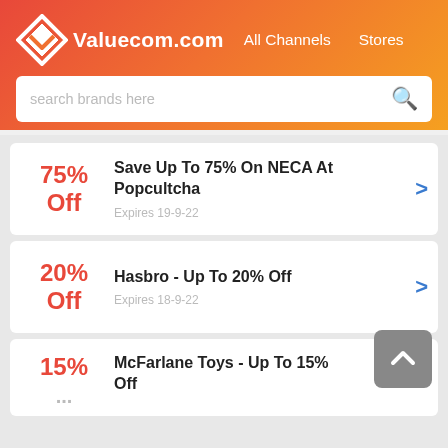Valuecom.com  All Channels  Stores
search brands here
75% Off — Save Up To 75% On NECA At Popcultcha — Expires 19-9-22
20% Off — Hasbro - Up To 20% Off — Expires 18-9-22
15% Off — McFarlane Toys - Up To 15% Off